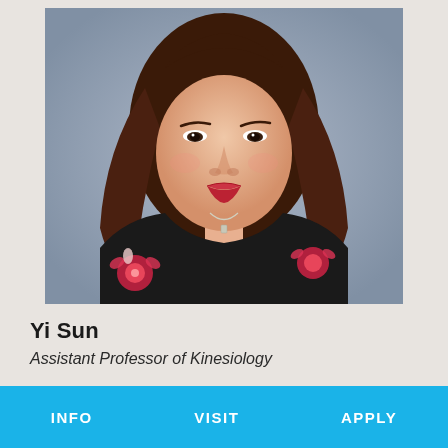[Figure (photo): Professional headshot of Yi Sun, a woman with long dark reddish-brown hair, smiling, wearing a black floral dress with pink/red flowers, and a silver necklace, photographed against a gray background.]
Yi Sun
Assistant Professor of Kinesiology
INFO    VISIT    APPLY